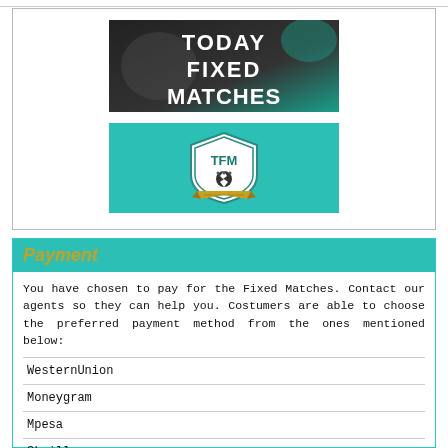[Figure (logo): Today Fixed Matches banner with dark background and teal gradient, bold white text reading TODAY FIXED MATCHES]
[Figure (logo): TFM shield logo on teal background with soccer ball and gold ribbon banner]
Payment
You have chosen to pay for the Fixed Matches. Contact our agents so they can help you. Costumers are able to choose the preferred payment method from the ones mentioned below:
WesternUnion
Moneygram
Mpesa
Skrill